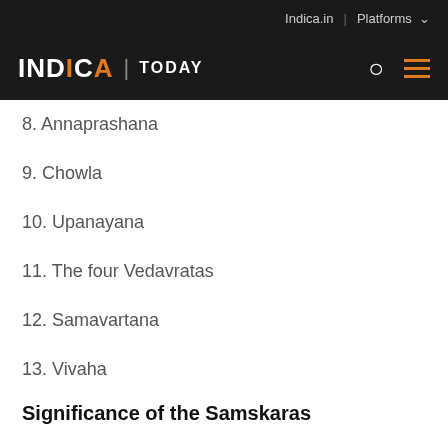Indica.in | Platforms
INDICA | TODAY
8. Annaprashana
9. Chowla
10. Upanayana
11. The four Vedavratas
12. Samavartana
13. Vivaha
Significance of the Samskaras